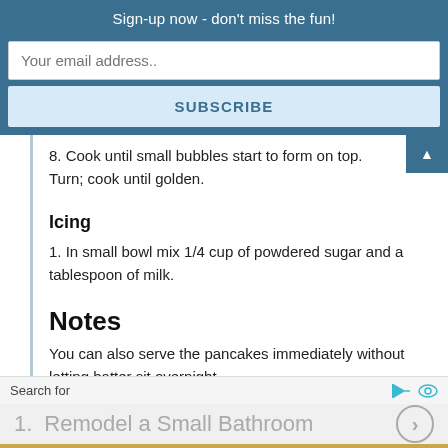Sign-up now - don't miss the fun!
Your email address..
SUBSCRIBE
8. Cook until small bubbles start to form on top. Turn; cook until golden.
Icing
1. In small bowl mix 1/4 cup of powdered sugar and a tablespoon of milk.
Notes
You can also serve the pancakes immediately without letting batter sit overnight.
Search for
1.  Remodel a Small Bathroom